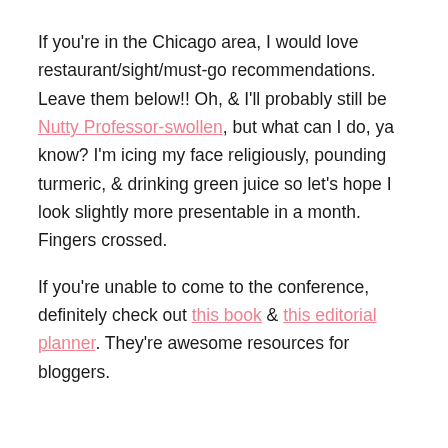If you're in the Chicago area, I would love restaurant/sight/must-go recommendations. Leave them below!! Oh, & I'll probably still be Nutty Professor-swollen, but what can I do, ya know? I'm icing my face religiously, pounding turmeric, & drinking green juice so let's hope I look slightly more presentable in a month. Fingers crossed.
If you're unable to come to the conference, definitely check out this book & this editorial planner. They're awesome resources for bloggers.